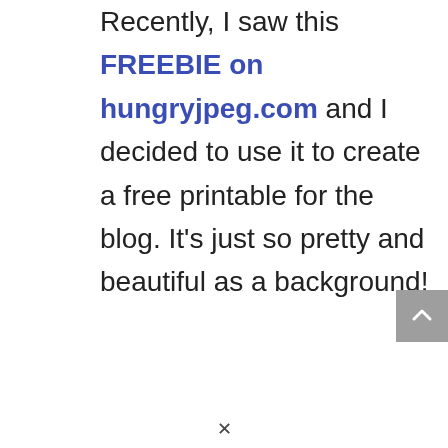Recently, I saw this FREEBIE on hungryjpeg.com and I decided to use it to create a free printable for the blog. It's just so pretty and beautiful as a background!